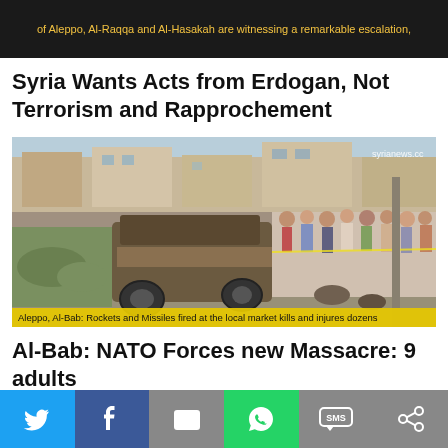[Figure (photo): Dark banner with yellow text about Aleppo, Al-Raqqa and Al-Hasakah witnessing a remarkable escalation]
Syria Wants Acts from Erdogan, Not Terrorism and Rapprochement
[Figure (photo): Aftermath of rocket and missile attack on local market in Aleppo, Al-Bab showing destroyed vehicle and crowd. Caption: Aleppo, Al-Bab: Rockets and Missiles fired at the local market kills and injures dozens. Watermark: syrianews.cc]
Al-Bab: NATO Forces new Massacre: 9 adults
[Figure (infographic): Social media sharing bar with Twitter, Facebook, Email, WhatsApp, SMS, and ShareThis buttons]